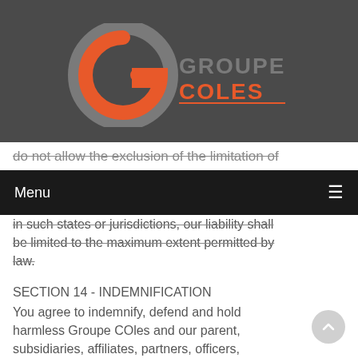[Figure (logo): Groupe Coles logo: large G in orange and grey on dark background with text GROUPE COLES]
do not allow the exclusion of the limitation of
Menu
in such states or jurisdictions, our liability shall be limited to the maximum extent permitted by law.
SECTION 14 - INDEMNIFICATION
You agree to indemnify, defend and hold harmless Groupe COles and our parent, subsidiaries, affiliates, partners, officers, directors, agents, contractors, licensors, service providers, subcontractors, suppliers, interns and employees, harmless from any claim or demand, including reasonable attorneys' fees, made by any third-party due to or arising out of your breach of these Terms of Service or the